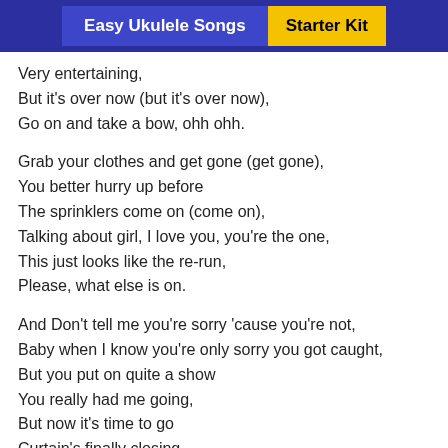Easy Ukulele Songs | Starter Kit
Very entertaining,
But it's over now (but it's over now),
Go on and take a bow, ohh ohh.
Grab your clothes and get gone (get gone),
You better hurry up before
The sprinklers come on (come on),
Talking about girl, I love you, you're the one,
This just looks like the re-run,
Please, what else is on.
And Don't tell me you're sorry 'cause you're not,
Baby when I know you're only sorry you got caught,
But you put on quite a show
You really had me going,
But now it's time to go
Curtain's finally closing,